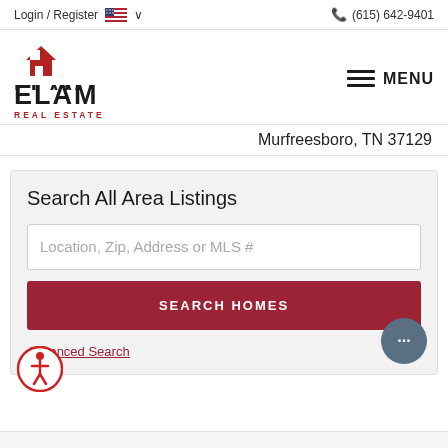Login / Register   🇺🇸 ∨   📞 (615) 642-9401
[Figure (logo): Elam Real Estate logo with red house/roof icon above the text ELAM REAL ESTATE]
≡ MENU
Murfreesboro, TN 37129
Search All Area Listings
Location, Zip, Address or MLS #
SEARCH HOMES
Advanced Search